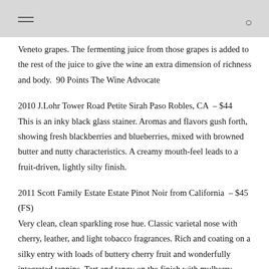Veneto grapes. The fermenting juice from those grapes is added to the rest of the juice to give the wine an extra dimension of richness and body.  90 Points The Wine Advocate
2010 J.Lohr Tower Road Petite Sirah Paso Robles, CA  – $44 This is an inky black glass stainer. Aromas and flavors gush forth, showing fresh blackberries and blueberries, mixed with browned butter and nutty characteristics. A creamy mouth-feel leads to a fruit-driven, lightly silty finish.
2011 Scott Family Estate Estate Pinot Noir from California  – $45 (FS) Very clean, clean sparkling rose hue. Classic varietal nose with cherry, leather, and light tobacco fragrances. Rich and coating on a silky entry with loads of buttery cherry fruit and wonderfully integrated tannins. Tart and tangy on the finish with mulberry, pepper, and leather accents wrapped around a ribbon of cherry-infused acids. – 93 Points The Wine News